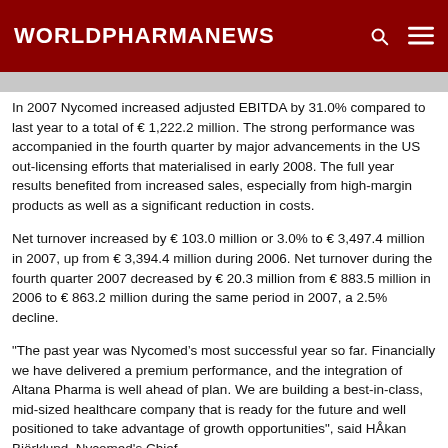WORLDPHARMANEWS
In 2007 Nycomed increased adjusted EBITDA by 31.0% compared to last year to a total of € 1,222.2 million. The strong performance was accompanied in the fourth quarter by major advancements in the US out-licensing efforts that materialised in early 2008. The full year results benefited from increased sales, especially from high-margin products as well as a significant reduction in costs.
Net turnover increased by € 103.0 million or 3.0% to € 3,497.4 million in 2007, up from € 3,394.4 million during 2006. Net turnover during the fourth quarter 2007 decreased by € 20.3 million from € 883.5 million in 2006 to € 863.2 million during the same period in 2007, a 2.5% decline.
"The past year was Nycomed’s most successful year so far. Financially we have delivered a premium performance, and the integration of Altana Pharma is well ahead of plan. We are building a best-in-class, mid-sized healthcare company that is ready for the future and well positioned to take advantage of growth opportunities", said Håkan Björklund, Nycomed's Chief